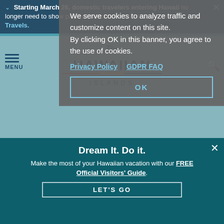Starting March 26, domestic travelers entering Hawaii no longer need to show proof of vaccination or testing with Safe Travels.
We serve cookies to analyze traffic and customize content on this site. By clicking OK in this banner, you agree to the use of cookies.
Privacy Policy    GDPR FAQ
OK
[Figure (logo): The Hawaiian Islands logo with stylized script 'The' above bold 'HAWAIIAN' and 'ISLANDS' text with a decorative line]
MENU
[Figure (photo): Beach scene with Waikiki buildings in background, two people on surfboards in turquoise water]
BACK TO TOP
Experiences
Dream It. Do it.
Make the most of your Hawaiian vacation with our FREE Official Visitors' Guide.
LET'S GO